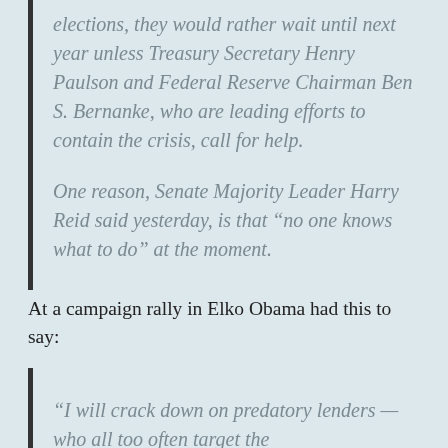elections, they would rather wait until next year unless Treasury Secretary Henry Paulson and Federal Reserve Chairman Ben S. Bernanke, who are leading efforts to contain the crisis, call for help.

One reason, Senate Majority Leader Harry Reid said yesterday, is that “no one knows what to do” at the moment.
At a campaign rally in Elko Obama had this to say:
“I will crack down on predatory lenders — who all too often target the